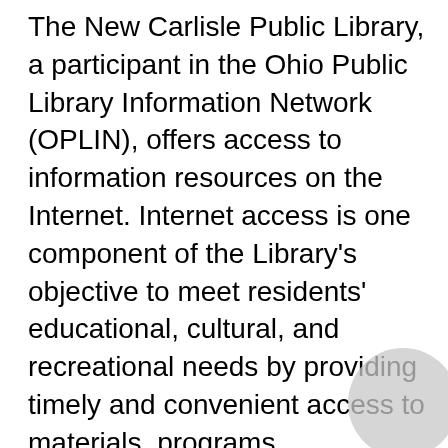The New Carlisle Public Library, a participant in the Ohio Public Library Information Network (OPLIN), offers access to information resources on the Internet. Internet access is one component of the Library's objective to meet residents' educational, cultural, and recreational needs by providing timely and convenient access to materials, programs, technology, and services.
Patrons need to be aware that for various reasons visiting some Internet sites may not be possible. Some reasons might be: host computer may be down; host computer